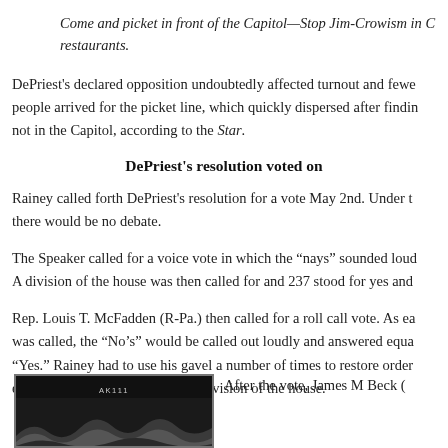Come and picket in front of the Capitol—Stop Jim-Crowism in C restaurants.
DePriest's declared opposition undoubtedly affected turnout and fewer people arrived for the picket line, which quickly dispersed after finding not in the Capitol, according to the Star.
DePriest's resolution voted on
Rainey called forth DePriest's resolution for a vote May 2nd. Under t there would be no debate.
The Speaker called for a voice vote in which the “nays” sounded loud A division of the house was then called for and 237 stood for yes and
Rep. Louis T. McFadden (R-Pa.) then called for a roll call vote. As ea was called, the “No’s” would be called out loudly and answered equa “Yes.” Rainey had to use his gavel a number of times to restore order ended with the same total as the division of the house.
[Figure (photo): Black and white photograph, partially visible, showing wavy architectural or decorative elements, with a label 'AK111' at the top.]
After the vote, James M Beck (